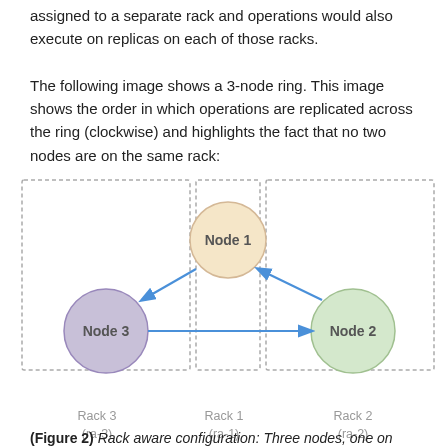assigned to a separate rack and operations would also execute on replicas on each of those racks.

The following image shows a 3-node ring. This image shows the order in which operations are replicated across the ring (clockwise) and highlights the fact that no two nodes are on the same rack:
[Figure (network-graph): Diagram showing a 3-node ring topology. Node 1 (yellow, top center), Node 2 (green, right), Node 3 (purple, left) are connected by blue arrows forming a clockwise ring. Each node is enclosed in a separate dashed rectangle representing Rack 1 (ra-1), Rack 2 (ra-2), and Rack 3 (ra-3) respectively.]
(Figure 2) Rack aware configuration: Three nodes, one on